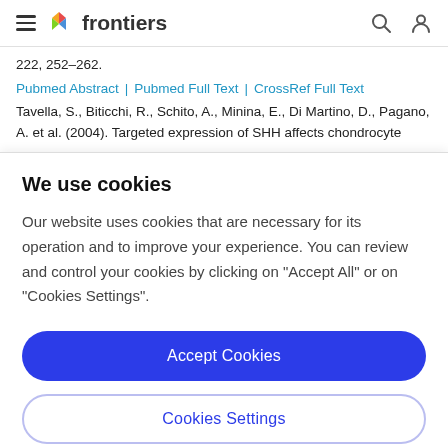frontiers
222, 252–262.
Pubmed Abstract | Pubmed Full Text | CrossRef Full Text
Tavella, S., Biticchi, R., Schito, A., Minina, E., Di Martino, D., Pagano, A. et al. (2004). Targeted expression of SHH affects chondrocyte
We use cookies
Our website uses cookies that are necessary for its operation and to improve your experience. You can review and control your cookies by clicking on "Accept All" or on "Cookies Settings".
Accept Cookies
Cookies Settings